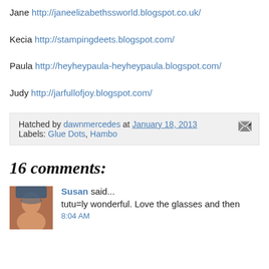Jane http://janeelizabethssworld.blogspot.co.uk/
Kecia http://stampingdeets.blogspot.com/
Paula http://heyheypaula-heyheypaula.blogspot.com/
Judy http://jarfullofjoy.blogspot.com/
Hatched by dawnmercedes at January 18, 2013  Labels: Glue Dots, Hambo
16 comments:
Susan said...
tutu=ly wonderful. Love the glasses and then
8:04 AM